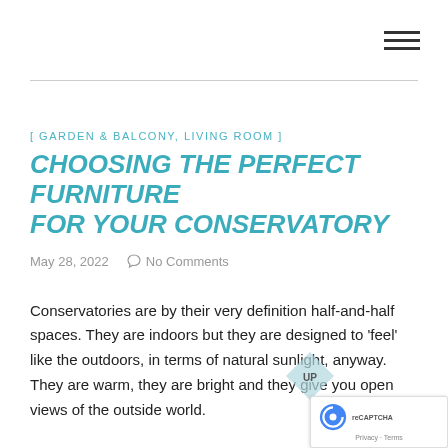[ hamburger menu icon ]
[ GARDEN & BALCONY, LIVING ROOM ]
CHOOSING THE PERFECT FURNITURE FOR YOUR CONSERVATORY
May 28, 2022   No Comments
Conservatories are by their very definition half-and-half spaces. They are indoors but they are designed to 'feel' like the outdoors, in terms of natural sunlight, anyway. They are warm, they are bright and they give you open views of the outside world.